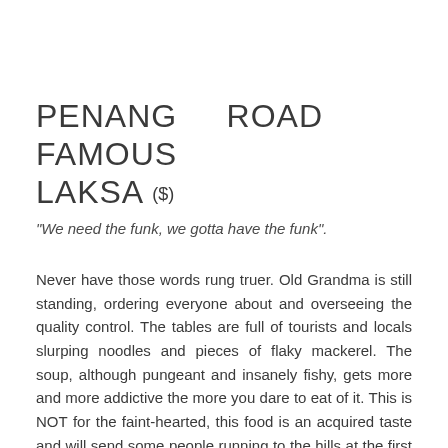PENANG ROAD FAMOUS LAKSA ($)
"We need the funk, we gotta have the funk".
Never have those words rung truer. Old Grandma is still standing, ordering everyone about and overseeing the quality control. The tables are full of tourists and locals slurping noodles and pieces of flaky mackerel. The soup, although pungeant and insanely fishy, gets more and more addictive the more you dare to eat of it. This is NOT for the faint-hearted, this food is an acquired taste and will send some people running to the hills at the first whiff.